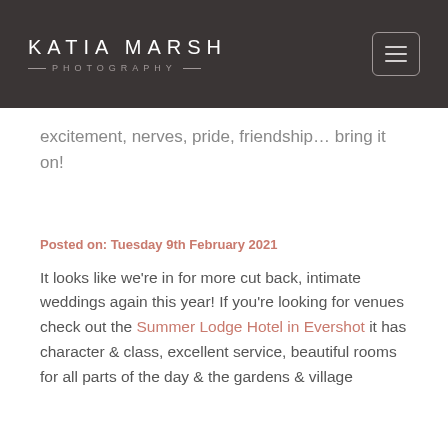KATIA MARSH PHOTOGRAPHY
excitement, nerves, pride, friendship... bring it on!
Posted on: Tuesday 9th February 2021
It looks like we're in for more cut back, intimate weddings again this year! If you're looking for venues check out the Summer Lodge Hotel in Evershot it has character & class, excellent service, beautiful rooms for all parts of the day & the gardens & village